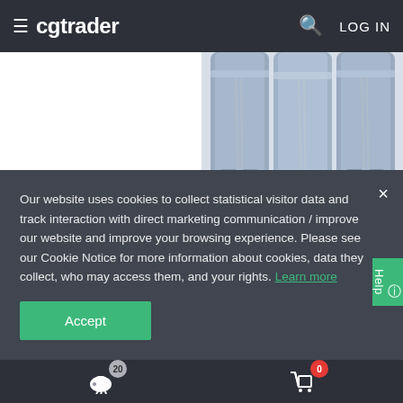≡  cgtrader   🔍  LOG IN
[Figure (screenshot): Left product card showing a large grey '3D' text placeholder on white background with price $2.90 in green]
[Figure (photo): Right product card showing blue/grey denim jeans from behind on white background with price $24.95 in green]
Our website uses cookies to collect statistical visitor data and track interaction with direct marketing communication / improve our website and improve your browsing experience. Please see our Cookie Notice for more information about cookies, data they collect, who may access them, and your rights. Learn more
Accept
20  [piggy bank icon]    0  [cart icon]